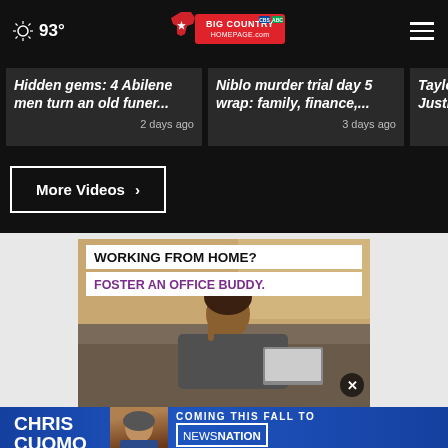93° Big Country Homepage
Hidden gems: 4 Abilene men turn an old funer... 2 days ago
Niblo murder trial day 5 wrap: family, finance,... 3 days ago
Taylor Justic...
More Videos ›
[Figure (photo): Advertisement: Working from home? Foster an office buddy. Shows a woman sitting on couch with laptop.]
WORKING FROM HOME? FOSTER AN OFFICE BUDDY.
[Figure (photo): Chris Cuomo Coming This Fall to NewsNation advertisement banner. Shows Chris Cuomo photo with text.]